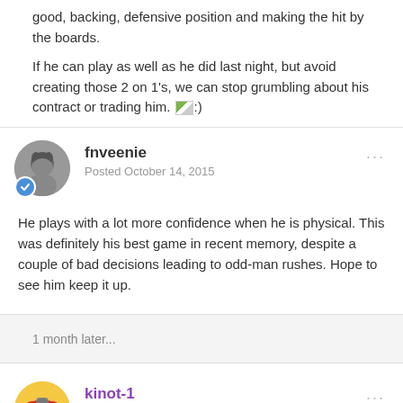good, backing, defensive position and making the hit by the boards.
If he can play as well as he did last night, but avoid creating those 2 on 1's, we can stop grumbling about his contract or trading him. :)
fnveenie
Posted October 14, 2015
He plays with a lot more confidence when he is physical. This was definitely his best game in recent memory, despite a couple of bad decisions leading to odd-man rushes. Hope to see him keep it up.
1 month later...
kinot-1
Posted November 24, 2015
TSN is sayin that Emelin "could" be ready for the rags game.